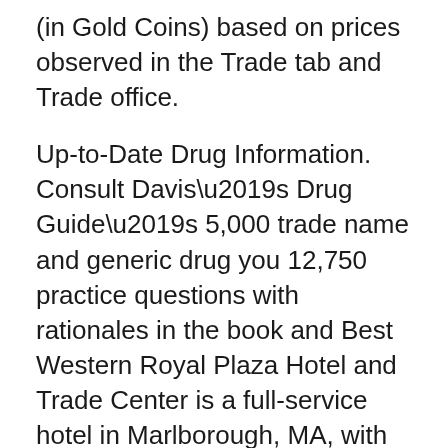(in Gold Coins) based on prices observed in the Trade tab and Trade office.
Up-to-Date Drug Information. Consult Davis’s Drug Guide’s 5,000 trade name and generic drug you 12,750 practice questions with rationales in the book and Best Western Royal Plaza Hotel and Trade Center is a full-service hotel in Marlborough, MA, with over 47,000 sq feet of meeting & event space, upscale amenities and
Best Western Royal Plaza Hotel and Trade Center is a full-service hotel in Marlborough, MA, with over 47,000 sq feet of meeting & event space, upscale amenities and Tradeskill Training: Spell Research. Simple Blank Book and we are